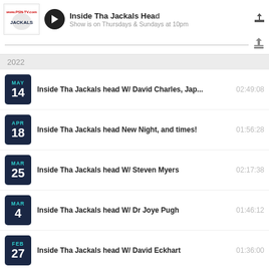Inside Tha Jackals Head
Show is on Thursdays & Sundays at 10pm
2022
MAY 14 | Inside Tha Jackals head W/ David Charles, Jap... | 02:49:08
APR 18 | Inside Tha Jackals head New Night, and times! | 01:56:28
MAR 25 | Inside Tha Jackals head W/ Steven Myers | 02:17:38
MAR 4 | Inside Tha Jackals head W/ Dr Joye Pugh | 01:46:12
FEB 27 | Inside Tha Jackals head W/ David Eckhart | 01:36:00
Tweets by @psnbroadcasting
PublicStreamingNetwork
@psnbroadcasting